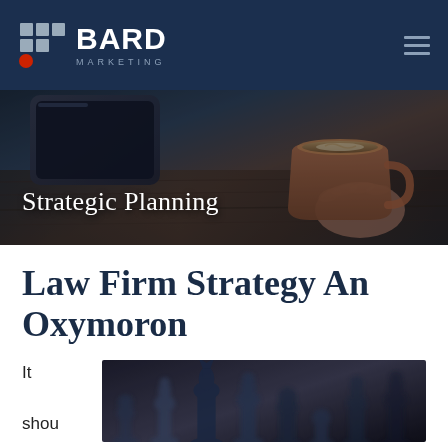BARD MARKETING
[Figure (photo): Hero banner image showing a person holding a coffee cup on a wooden table with a smartphone, overlaid with dark tint. Text overlay reads 'Strategic Planning'.]
Strategic Planning
Law Firm Strategy An Oxymoron
[Figure (photo): Chess pieces in black and white, blurred/defocused background, suggesting strategy concept.]
It shou